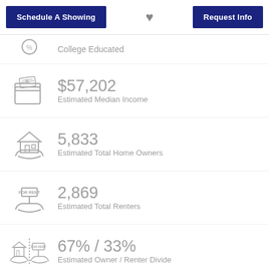Schedule A Showing | Request Info
College Educated
$57,202 — Estimated Median Income
5,833 — Estimated Total Home Owners
2,869 — Estimated Total Renters
67% / 33% — Estimated Owner / Renter Divide